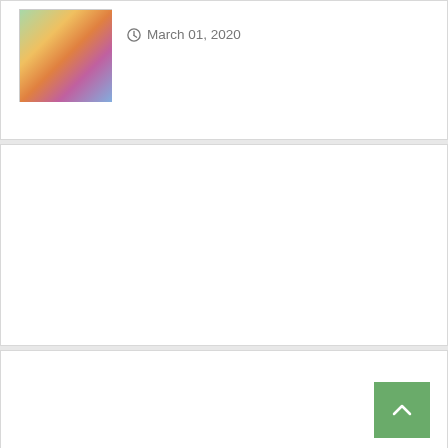[Figure (illustration): Thumbnail image showing a colorful illustrated scene with cartoon-style characters on a street]
March 01, 2020
[Figure (other): Empty white card/panel in the middle section]
[Figure (other): Empty white card/panel in the bottom section with a close (×) button]
[Figure (other): Green back-to-top button with upward chevron arrow in the bottom right corner]